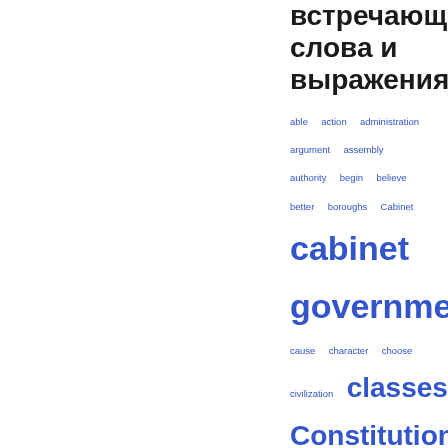встречающиеся слова и выражения
[Figure (other): Word cloud in blue showing English vocabulary words of varying sizes: able, action, administration, argument, assembly, authority, begin, believe, better, boroughs, Cabinet, cabinet government (largest), cause, character, choose, civilization, classes, Constitution, course, difficulty, discussion, doubt, early, effect, elected, England, English, equal, executive, exist, fact, feeling, force, give]